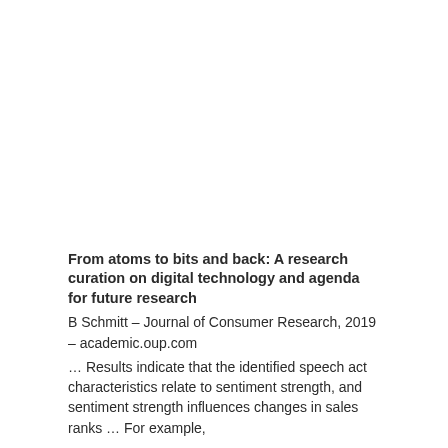From atoms to bits and back: A research curation on digital technology and agenda for future research
B Schmitt – Journal of Consumer Research, 2019 – academic.oup.com
… Results indicate that the identified speech act characteristics relate to sentiment strength, and sentiment strength influences changes in sales ranks … For example,